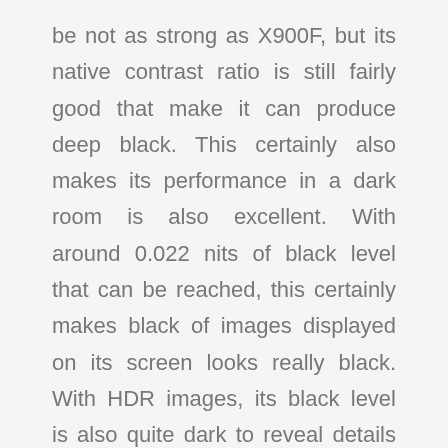be not as strong as X900F, but its native contrast ratio is still fairly good that make it can produce deep black. This certainly also makes its performance in a dark room is also excellent. With around 0.022 nits of black level that can be reached, this certainly makes black of images displayed on its screen looks really black. With HDR images, its black level is also quite dark to reveal details images in a dark scene, makes dark scene of HRD images looks excellent like the intended. But a bit unfortunate, although it already comes with Full Array Local Dimming, its local dimming